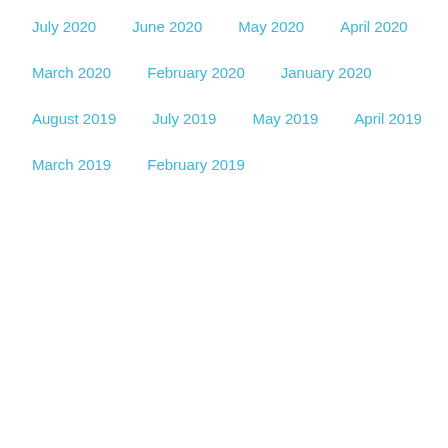July 2020
June 2020
May 2020
April 2020
March 2020
February 2020
January 2020
August 2019
July 2019
May 2019
April 2019
March 2019
February 2019